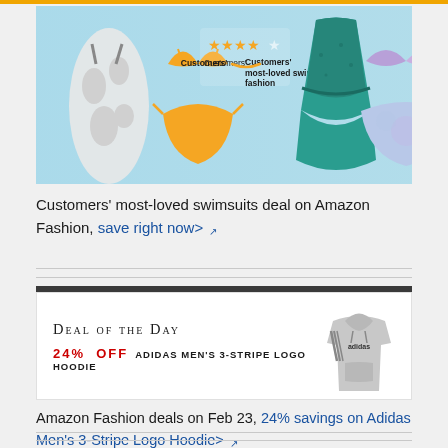[Figure (photo): Amazon Fashion swimsuit banner with orange top bar, showing several swimsuits on a blue background. Text: 4-star rating, Customers' most-loved swim fashion.]
Customers' most-loved swimsuits deal on Amazon Fashion, save right now> [external link icon]
[Figure (infographic): Deal of the Day promotional box with dark header bar. Shows '24% OFF ADIDAS MEN'S 3-STRIPE LOGO HOODIE' text with image of grey Adidas hoodie on right.]
Amazon Fashion deals on Feb 23, 24% savings on Adidas Men's 3-Stripe Logo Hoodie> [external link icon]